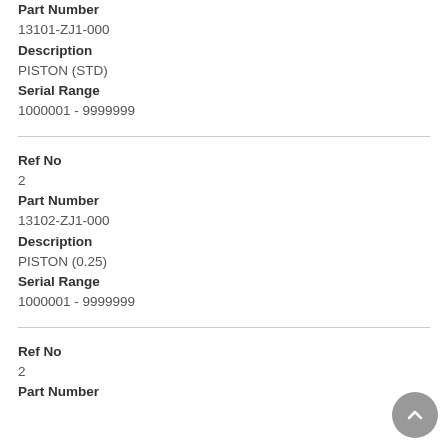Part Number
13101-ZJ1-000
Description
PISTON (STD)
Serial Range
1000001 - 9999999
Ref No
2
Part Number
13102-ZJ1-000
Description
PISTON (0.25)
Serial Range
1000001 - 9999999
Ref No
2
Part Number